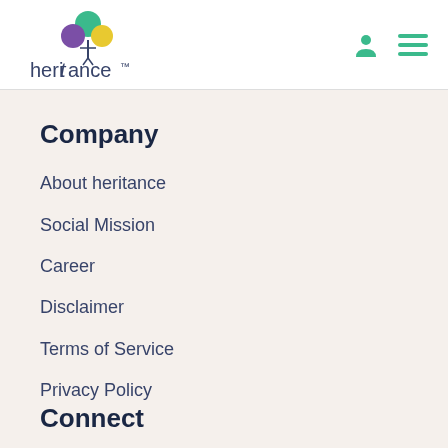heritance
Company
About heritance
Social Mission
Career
Disclaimer
Terms of Service
Privacy Policy
Connect